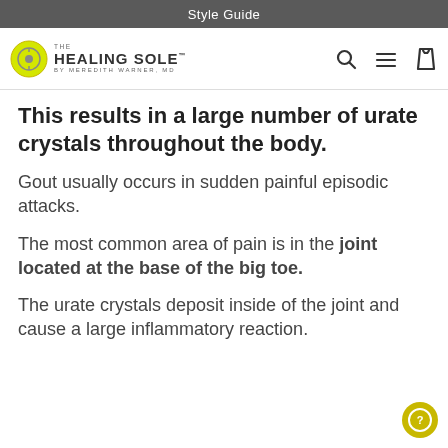Style Guide
[Figure (logo): The Healing Sole by Meredith Warner, MD logo with navigation icons (search, menu, bag)]
This results in a large number of urate crystals throughout the body.
Gout usually occurs in sudden painful episodic attacks.
The most common area of pain is in the joint located at the base of the big toe.
The urate crystals deposit inside of the joint and cause a large inflammatory reaction.